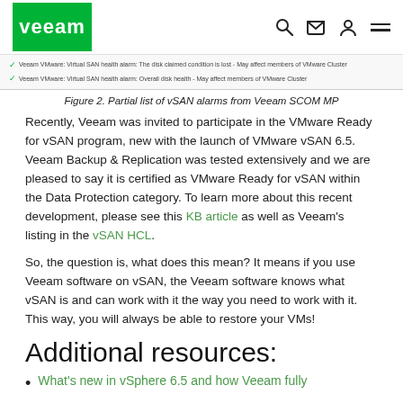Veeam (logo)
[Figure (screenshot): Partial list of vSAN alarms from Veeam SCOM MP showing two checked alarm items]
Figure 2. Partial list of vSAN alarms from Veeam SCOM MP
Recently, Veeam was invited to participate in the VMware Ready for vSAN program, new with the launch of VMware vSAN 6.5. Veeam Backup & Replication was tested extensively and we are pleased to say it is certified as VMware Ready for vSAN within the Data Protection category. To learn more about this recent development, please see this KB article as well as Veeam's listing in the vSAN HCL.
So, the question is, what does this mean? It means if you use Veeam software on vSAN, the Veeam software knows what vSAN is and can work with it the way you need to work with it. This way, you will always be able to restore your VMs!
Additional resources:
What's new in vSphere 6.5 and how Veeam fully